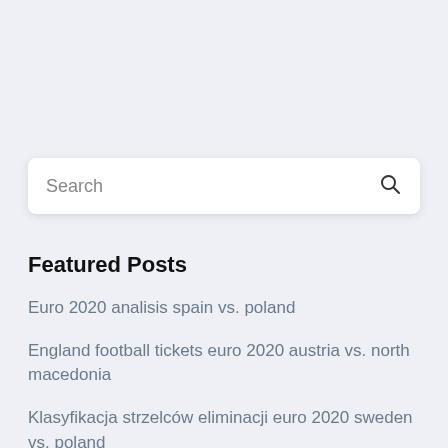Search
Featured Posts
Euro 2020 analisis spain vs. poland
England football tickets euro 2020 austria vs. north macedonia
Klasyfikacja strzelców eliminacji euro 2020 sweden vs. poland